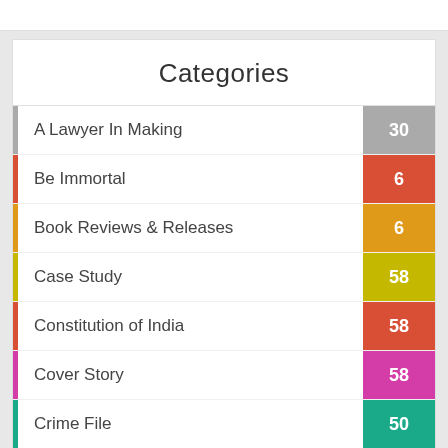Categories
A Lawyer In Making — 30
Be Immortal — 6
Book Reviews & Releases — 6
Case Study — 58
Constitution of India — 58
Cover Story — 58
Crime File — 50
Cyber Space — 29
Editorial